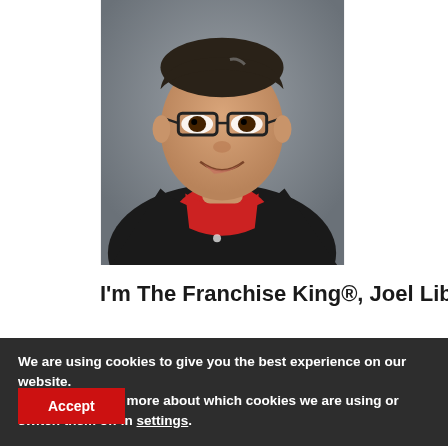[Figure (photo): Professional headshot of a middle-aged man wearing glasses, a red shirt, and a dark blazer, smiling at the camera against a grey background.]
I'm The Franchise King®, Joel Libava,
We are using cookies to give you the best experience on our website.
You can find out more about which cookies we are using or switch them off in settings.
Accept